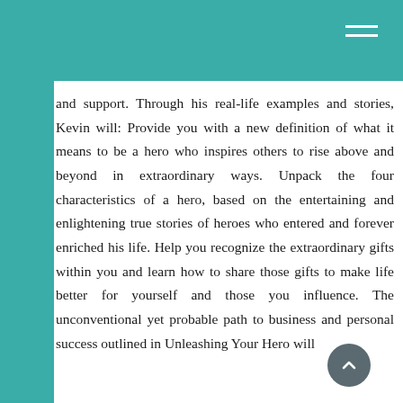and support. Through his real-life examples and stories, Kevin will: Provide you with a new definition of what it means to be a hero who inspires others to rise above and beyond in extraordinary ways. Unpack the four characteristics of a hero, based on the entertaining and enlightening true stories of heroes who entered and forever enriched his life. Help you recognize the extraordinary gifts within you and learn how to share those gifts to make life better for yourself and those you influence. The unconventional yet probable path to business and personal success outlined in Unleashing Your Hero will